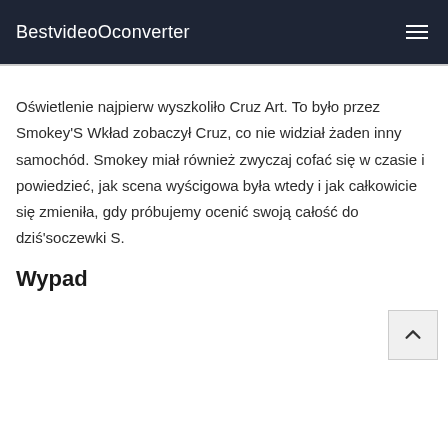BestvideoOconverter
Oświetlenie najpierw wyszkoliło Cruz Art. To było przez Smokey'S Wkład zobaczył Cruz, co nie widział żaden inny samochód. Smokey miał również zwyczaj cofać się w czasie i powiedzieć, jak scena wyścigowa była wtedy i jak całkowicie się zmieniła, gdy próbujemy ocenić swoją całość do dziś'soczewki S.
Wypad